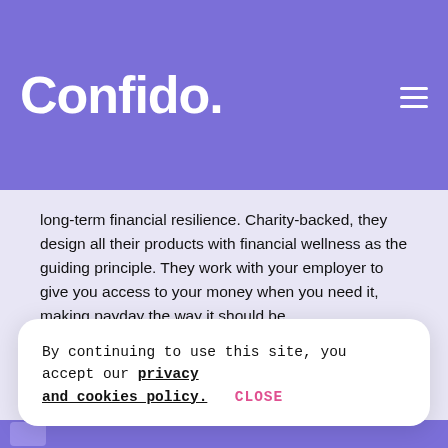Confido.
long-term financial resilience. Charity-backed, they design all their products with financial wellness as the guiding principle. They work with your employer to give you access to your money when you need it, making payday the way it should be.
Location: London
Company size: 11 to 50 employees
Funding: Wagestream has raised $79.3m in
By continuing to use this site, you accept our privacy and cookies policy. CLOSE